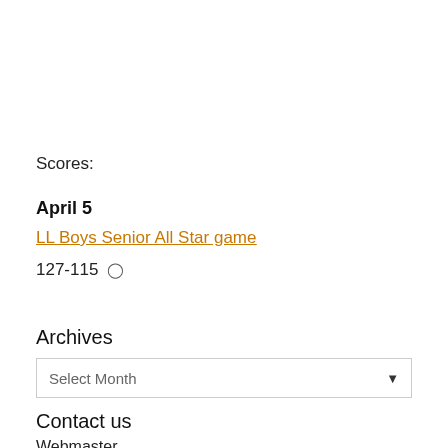Scores:
April 5
LL Boys Senior All Star game
127-115
Archives
Select Month
Contact us
Webmaster